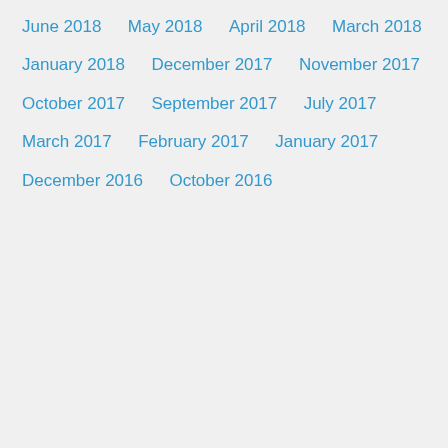June 2018
May 2018
April 2018
March 2018
January 2018
December 2017
November 2017
October 2017
September 2017
July 2017
March 2017
February 2017
January 2017
December 2016
October 2016